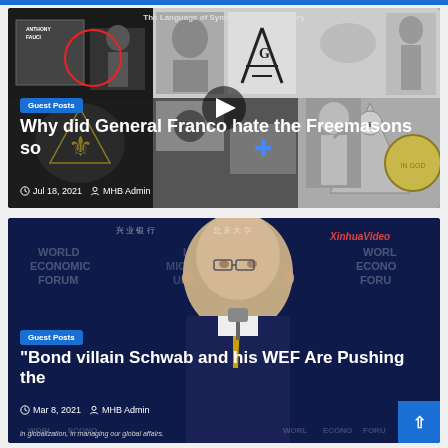[Figure (screenshot): Thumbnail image for article about General Franco and Freemasons, showing collage of Freemasonry symbols, Anthony Fauci, and other imagery with title 'The Language of Symbols in Freemasonry']
Guest Posts
Why did General Franco hate the Freemasons so
Jul 18, 2021   MHB Admin
[Figure (screenshot): Thumbnail image for article about Bond villain Schwab and WEF, showing Klaus Schwab speaking at World Economic Forum with XinhuaVideo watermark]
Guest Posts
“Bond villain Schwab and his WEF Are Pushing the
Mar 8, 2021   MHB Admin
in globalization, in managing our global affairs.